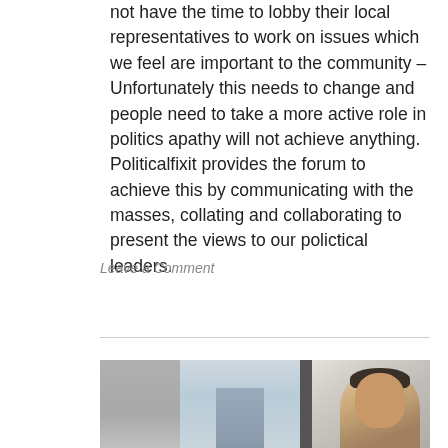not have the time to lobby their local representatives to work on issues which we feel are important to the community – Unfortunately this needs to change and people need to take a more active role in politics apathy will not achieve anything. Politicalfixit provides the forum to achieve this by communicating with the masses, collating and collaborating to present the views to our polictical leaders.
Leave a Comment
[Figure (photo): A partial photograph showing two people and a building in an outdoor urban setting, cropped at the bottom of the page.]